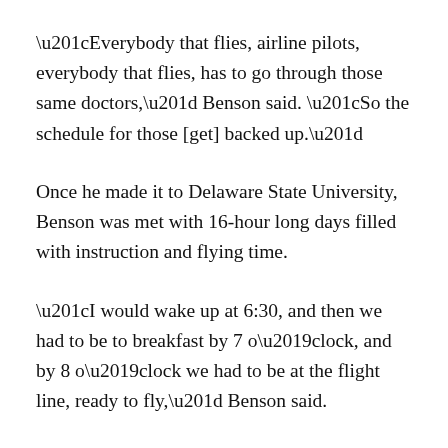“Everybody that flies, airline pilots, everybody that flies, has to go through those same doctors,” Benson said. “So the schedule for those [get] backed up.”
Once he made it to Delaware State University, Benson was met with 16-hour long days filled with instruction and flying time.
“I would wake up at 6:30, and then we had to be to breakfast by 7 o’clock, and by 8 o’clock we had to be at the flight line, ready to fly,” Benson said.